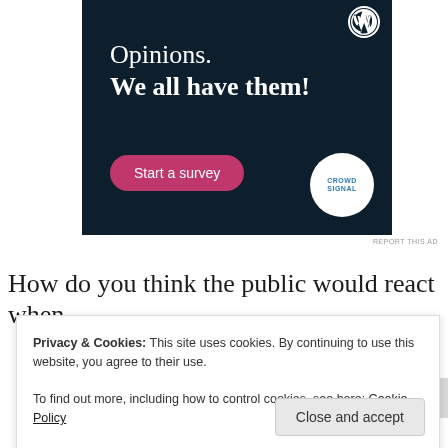[Figure (illustration): WordPress/Crowdsignal advertisement banner with dark navy background. Shows 'Opinions. We all have them!' text, a pink 'Start a survey' button, WordPress logo top right, and Crowdsignal circular badge bottom right.]
REPORT THIS AD
How do you think the public would react when t... e... l...
Privacy & Cookies: This site uses cookies. By continuing to use this website, you agree to their use.
To find out more, including how to control cookies, see here: Cookie Policy
Close and accept
REPORT THIS AD